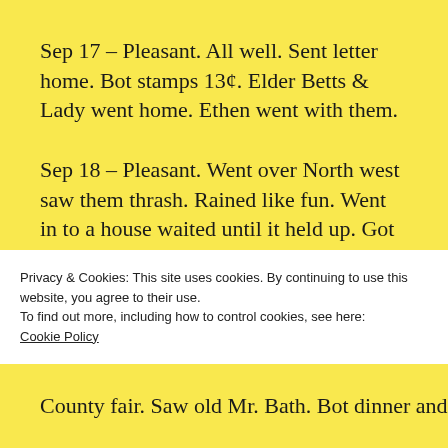Sep 17 – Pleasant. All well. Sent letter home. Bot stamps 13¢. Elder Betts & Lady went home. Ethen went with them.
Sep 18 – Pleasant. Went over North west saw them thrash. Rained like fun. Went in to a house waited until it held up. Got wet.
Sep 19 – Pleasant. Went over to Mr Betts. He sold his farm. I went home with Roberts folks
Privacy & Cookies: This site uses cookies. By continuing to use this website, you agree to their use.
To find out more, including how to control cookies, see here:
Cookie Policy
Close and accept
County fair. Saw old Mr. Bath. Bot dinner and